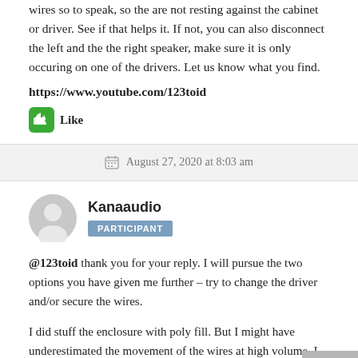wires so to speak, so the are not resting against the cabinet or driver. See if that helps it. If not, you can also disconnect the left and the the right speaker, make sure it is only occuring on one of the drivers. Let us know what you find.
https://www.youtube.com/123toid
Like
August 27, 2020 at 8:03 am
Kanaaudio
PARTICIPANT
@123toid thank you for your reply. I will pursue the two options you have given me further – try to change the driver and/or secure the wires.
I did stuff the enclosure with poly fill. But I might have underestimated the movement of the wires at high volume. I did not secure the wires specifically away from the enclosure or drivers, because I figured the poly fill would keep them in place.